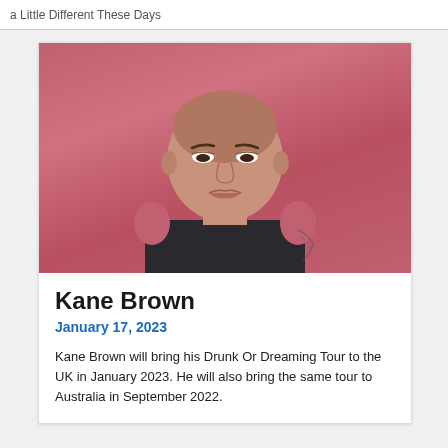a Little Different These Days
[Figure (photo): Portrait photo of Kane Brown, a man with a shaved head wearing a dark sleeveless shirt, photographed against a pink/rose background.]
Kane Brown
January 17, 2023
Kane Brown will bring his Drunk Or Dreaming Tour to the UK in January 2023. He will also bring the same tour to Australia in September 2022.